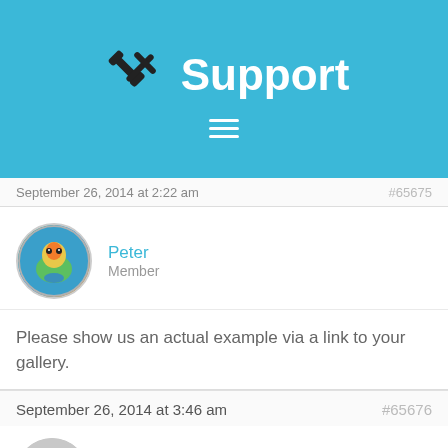Support
September 26, 2014 at 2:22 am   #65675
Peter
Member
Please show us an actual example via a link to your gallery.
September 26, 2014 at 3:46 am   #65676
Dennis Granzow
Member